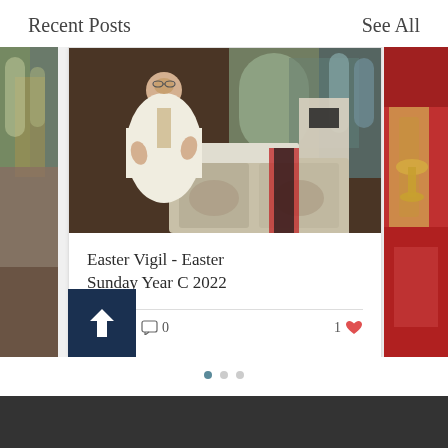Recent Posts
See All
[Figure (photo): Church interior photo showing a priest in white vestments standing at a pulpit or altar, with stained glass windows and ornate church decor in the background.]
Easter Vigil - Easter Sunday Year C 2022
26 views  0 comments  1 like